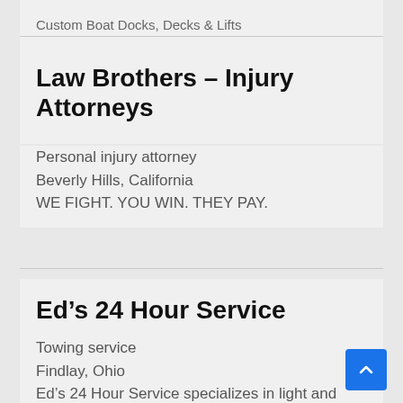Custom Boat Docks, Decks & Lifts
Law Brothers – Injury Attorneys
Personal injury attorney
Beverly Hills, California
WE FIGHT. YOU WIN. THEY PAY.
Ed's 24 Hour Service
Towing service
Findlay, Ohio
Ed's 24 Hour Service specializes in light and heavy duty towing, specialized transportation and roadside assistance.